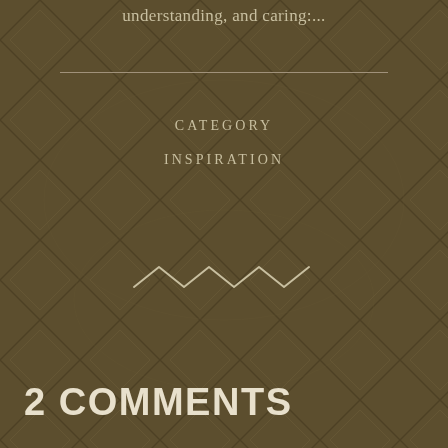understanding, and caring:...
CATEGORY
INSPIRATION
[Figure (illustration): Decorative zigzag wave ornament in light tan color]
2 COMMENTS